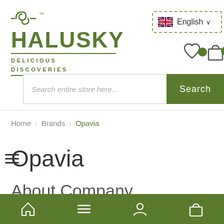[Figure (logo): Halusky brand logo with decorative icon, bold green text HALUSKY with TM mark, and tagline DELICIOUS DISCOVERIES between two horizontal green lines]
[Figure (screenshot): English language selector dropdown with UK flag icon, dashed border rectangle]
[Figure (screenshot): Heart icon with green notification badge and shopping bag icon with 0 badge]
[Figure (screenshot): Search bar with placeholder text Search entire store here... and green Search button, with hamburger menu icon on the left]
Home  Brands  Opavia
Opavia
About Company
[Figure (screenshot): Green bottom navigation bar with home, hamburger menu, user, and shopping bag icons]